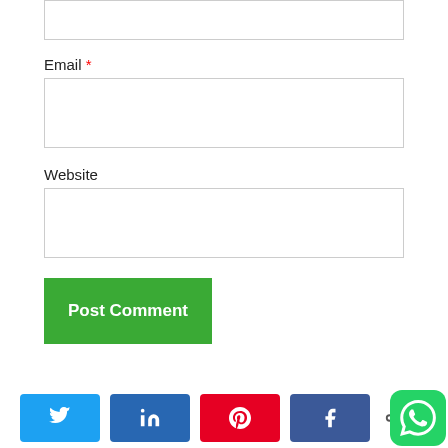[Figure (screenshot): Top input box (partially visible text field)]
Email *
[Figure (screenshot): Email input text field]
Website
[Figure (screenshot): Website input text field]
[Figure (screenshot): Post Comment button (green)]
[Figure (screenshot): Social share bar with Twitter, LinkedIn, Pinterest, Facebook buttons, share icon, and WhatsApp floating button]